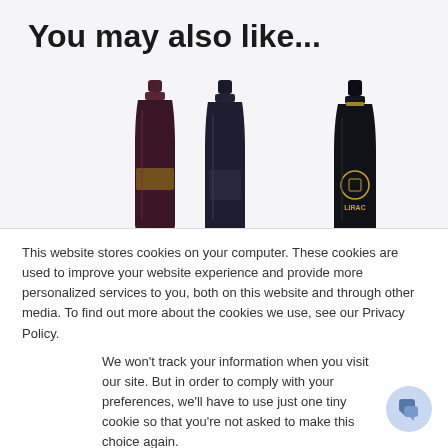You may also like...
[Figure (photo): Three dark wine bottles displayed side by side against a light background. Left bottle has a dark red/burgundy label, center bottle is dark with minimal label, right bottle is dark with a gold emblem and 'LIRAC' text visible.]
This website stores cookies on your computer. These cookies are used to improve your website experience and provide more personalized services to you, both on this website and through other media. To find out more about the cookies we use, see our Privacy Policy.
We won't track your information when you visit our site. But in order to comply with your preferences, we'll have to use just one tiny cookie so that you're not asked to make this choice again.
Accept
Decline